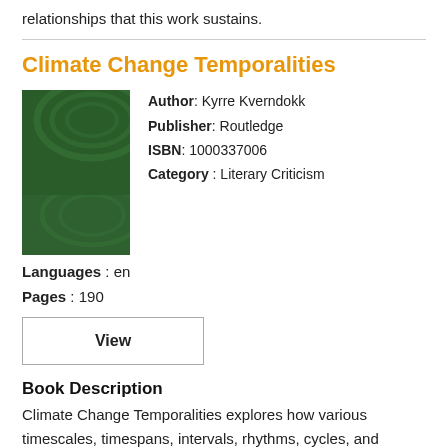relationships that this work sustains.
Climate Change Temporalities
[Figure (illustration): Book cover of Climate Change Temporalities, showing a dark green cover with the title, subtitle, and a Routledge logo.]
Author: Kyrre Kverndokk
Publisher: Routledge
ISBN: 1000337006
Category: Literary Criticism
Languages : en
Pages : 190
View
Book Description
Climate Change Temporalities explores how various timescales, timespans, intervals, rhythms, cycles, and changes in acceleration are at play in climate change discourse. It argues that temporality distributes and